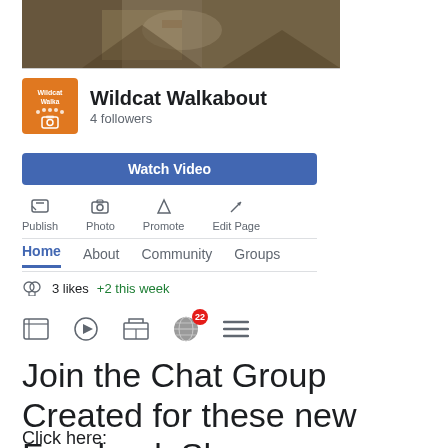[Figure (photo): Animal photo at top of Facebook page, showing a wildcat or similar animal on rocky terrain]
[Figure (logo): Wildcat Walkabout orange logo square with camera icon]
Wildcat Walkabout
4 followers
Watch Video
Publish  Photo  Promote  Edit Page
Home  About  Community  Groups
3 likes +2 this week
[Figure (screenshot): Facebook bottom navigation icons row with notification badge showing 22]
Join the Chat Group Created for these new Facebook Shows
Click here: